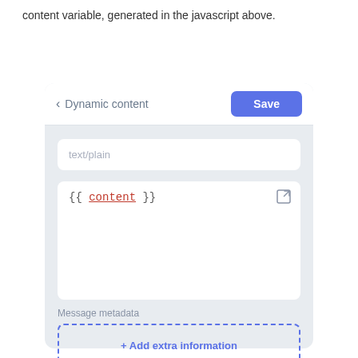content variable, generated in the javascript above.
[Figure (screenshot): A UI panel titled 'Dynamic content' with a Save button. Contains a text/plain input field, a code editor area showing '{{ content }}' with an expand icon, a 'Message metadata' label, and a dashed-border '+ Add extra information' button.]